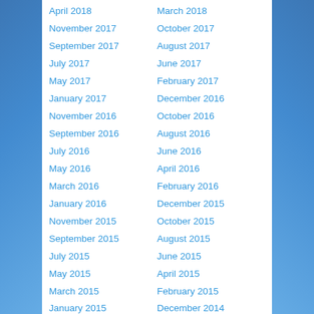April 2018
March 2018
November 2017
October 2017
September 2017
August 2017
July 2017
June 2017
May 2017
February 2017
January 2017
December 2016
November 2016
October 2016
September 2016
August 2016
July 2016
June 2016
May 2016
April 2016
March 2016
February 2016
January 2016
December 2015
November 2015
October 2015
September 2015
August 2015
July 2015
June 2015
May 2015
April 2015
March 2015
February 2015
January 2015
December 2014
November 2014
October 2014
September 2014
August 2014
July 2014
June 2014